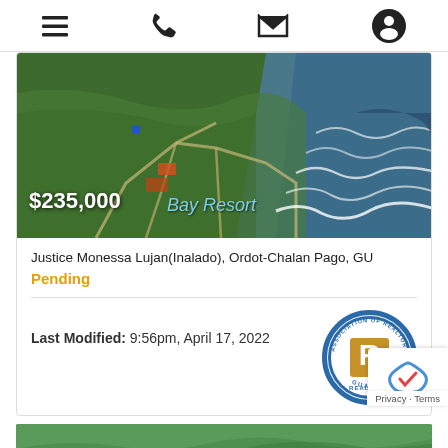Navigation bar with menu, phone, email, and profile icons
[Figure (photo): Aerial satellite view of coastal land parcel near Ordot-Chalan Pago, Guam, showing green terrain meeting ocean with waves. Price overlay $235,000 and text 'Bay Resort' visible on image.]
Justice Monessa Lujan(Inalado), Ordot-Chalan Pago, GU
Pending
Last Modified: 9:56pm, April 17, 2022
[Figure (logo): Association of Realtors Guam circular badge/seal with R logo in gold/blue]
Privacy · Terms
[Figure (photo): Bottom strip showing partial view of tropical/coastal scenery]